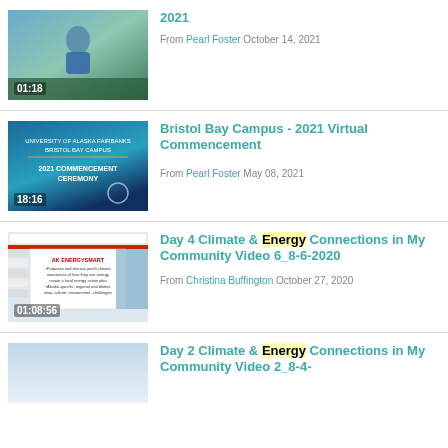[Figure (screenshot): Video thumbnail showing a person outdoors, duration 01:18]
2021
From Pearl Foster October 14, 2021
[Figure (screenshot): Video thumbnail: University of Alaska Fairbanks Bristol Bay Campus 2021 Commencement Ceremony, duration 18:16]
Bristol Bay Campus - 2021 Virtual Commencement
From Pearl Foster May 08, 2021
[Figure (screenshot): Video thumbnail: AK EnergySmart slide presentation with person, duration 01:08:56]
Day 4 Climate & Energy Connections in My Community Video 6_8-6-2020
From Christina Buffington October 27, 2020
[Figure (screenshot): Video thumbnail: gray/blue gradient, partially visible, bottom of page]
Day 2 Climate & Energy Connections in My Community Video 2_8-4-...